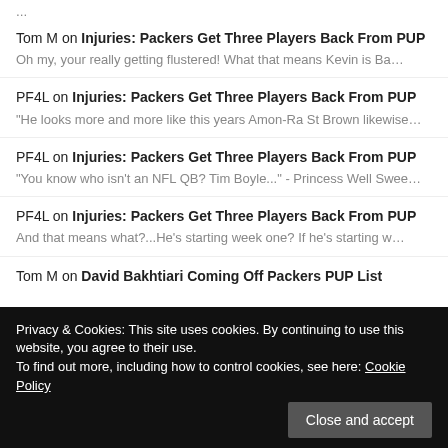...
Tom M on Injuries: Packers Get Three Players Back From PUP
Oh my, your really getting flustered! What that means Kevin is Ba…
PF4L on Injuries: Packers Get Three Players Back From PUP
"He looks more and more like this years Amon-Ra St Brown likewise…
PF4L on Injuries: Packers Get Three Players Back From PUP
"You know who isn't an NFL QB? Tim Boyle..." - Princess Well Swee…
PF4L on Injuries: Packers Get Three Players Back From PUP
And that means what?...He's starting week one? If he's starting w…
Tom M on David Bakhtiari Coming Off Packers PUP List
Privacy & Cookies: This site uses cookies. By continuing to use this website, you agree to their use.
To find out more, including how to control cookies, see here: Cookie Policy
Close and accept
EN